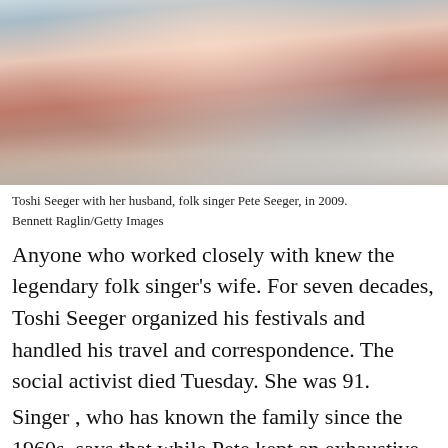[Figure (photo): Close-up photo of Toshi Seeger smiling, wearing a colorful red/pink patterned scarf and a light blue denim jacket, cropped at the top of the frame.]
Toshi Seeger with her husband, folk singer Pete Seeger, in 2009. Bennett Raglin/Getty Images
Anyone who worked closely with knew the legendary folk singer’s wife. For seven decades, Toshi Seeger organized his festivals and handled his travel and correspondence. The social activist died Tuesday. She was 91.
Singer , who has known the family since the 1960s, says that while Pete kept an exhaustive schedule touring the world, Toshi worked just as hard behind the scenes.